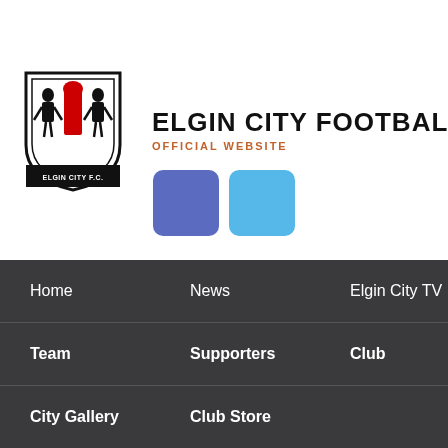[Figure (logo): Elgin City FC shield crest logo with two figures flanking a central emblem, text ELGIN CITY F.C. at bottom]
ELGIN CITY FOOTBALL CLUB
OFFICIAL WEBSITE
[Figure (other): Two social media icons: Facebook (blue-purple square) and Twitter (light blue square)]
Home
News
Elgin City TV
Team
Supporters
Club
City Gallery
Club Store